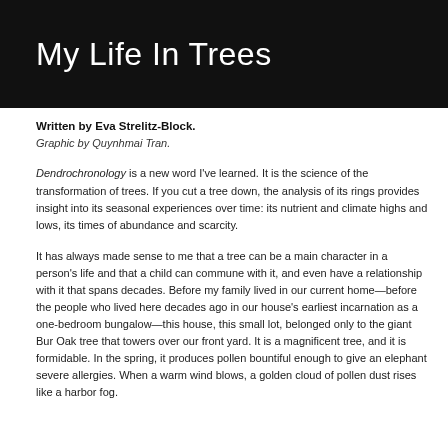My Life In Trees
Written by Eva Strelitz-Block.
Graphic by Quynhmai Tran.
Dendrochronology is a new word I've learned. It is the science of the transformation of trees. If you cut a tree down, the analysis of its rings provides insight into its seasonal experiences over time: its nutrient and climate highs and lows, its times of abundance and scarcity.
It has always made sense to me that a tree can be a main character in a person's life and that a child can commune with it, and even have a relationship with it that spans decades. Before my family lived in our current home—before the people who lived here decades ago in our house's earliest incarnation as a one-bedroom bungalow—this house, this small lot, belonged only to the giant Bur Oak tree that towers over our front yard. It is a magnificent tree, and it is formidable. In the spring, it produces pollen bountiful enough to give an elephant severe allergies. When a warm wind blows, a golden cloud of pollen dust rises like a harbor fog.